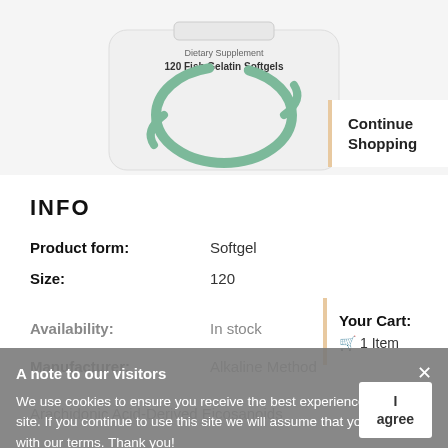[Figure (photo): Product bottle showing dietary supplement label reading '120 Fish Gelatin Softgels' with a green circular logo/design on a white background]
Continue Shopping
INFO
Product form: Softgel
Size: 120
Availability: In stock
Your Cart: 1 Item
Manufacturer: Alkaline Method
Arachidonic Acid-Derived Eicosanoids
A note to our visitors
We use cookies to ensure you receive the best experience on our site. If you continue to use this site we will assume that you agree with our terms. Thank you!
I agree